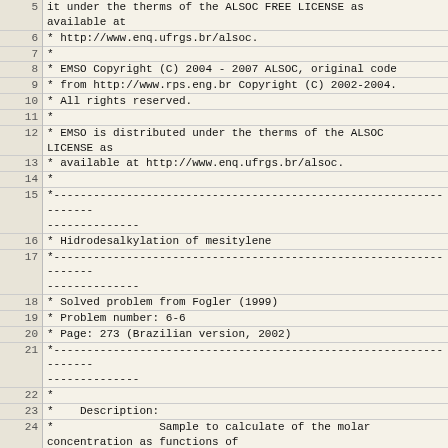| line | code |
| --- | --- |
| 5 | it under the therms of the ALSOC FREE LICENSE as available at |
| 6 | * http://www.enq.ufrgs.br/alsoc. |
| 7 | * |
| 8 | * EMSO Copyright (C) 2004 - 2007 ALSOC, original code |
| 9 | * from http://www.rps.eng.br Copyright (C) 2002-2004. |
| 10 | * All rights reserved. |
| 11 | * |
| 12 | * EMSO is distributed under the therms of the ALSOC LICENSE as |
| 13 | * available at http://www.enq.ufrgs.br/alsoc. |
| 14 | * |
| 15 | *------------------------------------------------------------------ |
| 16 | * Hidrodesalkylation of mesitylene |
| 17 | *------------------------------------------------------------------ |
| 18 | * Solved problem from Fogler (1999) |
| 19 | * Problem number: 6-6 |
| 20 | * Page: 273 (Brazilian version, 2002) |
| 21 | *------------------------------------------------------------------ |
| 22 | * |
| 23 | *    Description: |
| 24 | *                Sample to calculate of the molar concentration as functions of |
| 25 | *        the resident time in a PFR with a fixed bed. There is the reaction |
| 26 | *        of hidrodesalkylation of mesitylene: |
| 27 | *                        mesitylene + H2 -> m-xylene + CH4 |
| 28 | *                        m-xylene   + H2 -> toluene + CH4 |
| 29 | * |